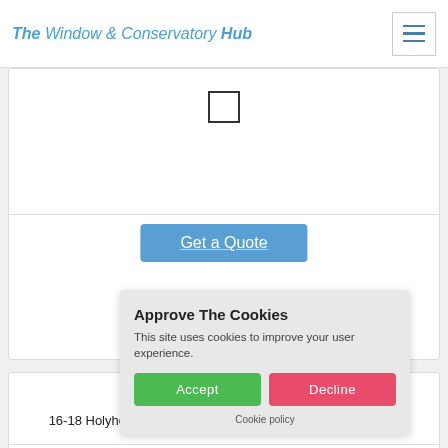The Window & Conservatory Hub
[Figure (screenshot): Checkbox element in a card/form area]
Get a Quote
R K Windows Ltd
16-18 Holyhead Road, Birmingham, West Midlands, B21 0LT
202
★★
Approve The Cookies
This site uses cookies to improve your user experience.
Accept   Decline
Cookie policy
[Figure (screenshot): Checkbox element at bottom of page]